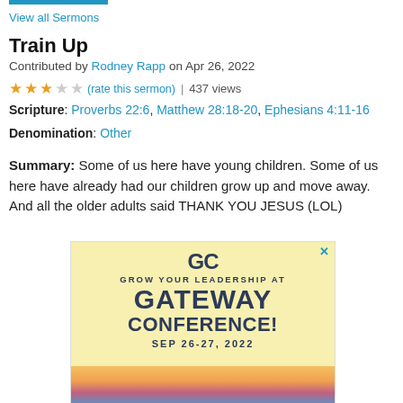View all Sermons
Train Up
Contributed by Rodney Rapp on Apr 26, 2022
★★★☆☆ (rate this sermon) | 437 views
Scripture: Proverbs 22:6, Matthew 28:18-20, Ephesians 4:11-16
Denomination: Other
Summary: Some of us here have young children. Some of us here have already had our children grow up and move away. And all the older adults said THANK YOU JESUS (LOL)
[Figure (advertisement): Gateway Conference advertisement with GC logo, text 'GROW YOUR LEADERSHIP AT GATEWAY CONFERENCE! SEP 26-27, 2022' on yellow background with sunset landscape at bottom]